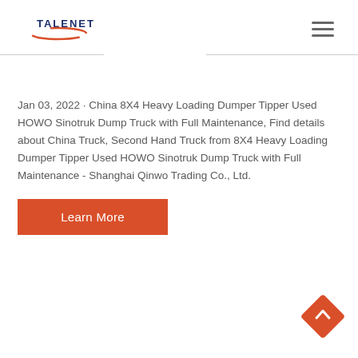[Figure (logo): Talenet logo with red swoosh and blue text]
Jan 03, 2022 · China 8X4 Heavy Loading Dumper Tipper Used HOWO Sinotruk Dump Truck with Full Maintenance, Find details about China Truck, Second Hand Truck from 8X4 Heavy Loading Dumper Tipper Used HOWO Sinotruk Dump Truck with Full Maintenance - Shanghai Qinwo Trading Co., Ltd.
Learn More